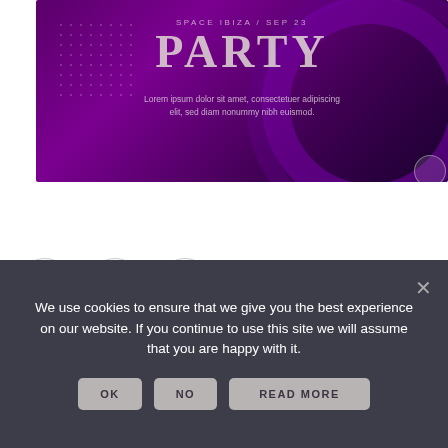[Figure (illustration): Purple gradient party event banner with large 'PARTY' title, 'SPACE IBIZA / SEP 23' subtitle, and Lorem Ipsum body text on dark purple background with decorative arcs and dots]
Z  O  W
O DAM CONTENT LOADING
We use cookies to ensure that we give you the best experience on our website. If you continue to use this site we will assume that you are happy with it.
OK  NO  READ MORE